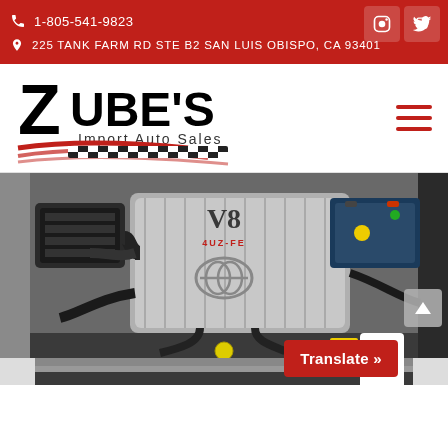1-805-541-9823 | 225 TANK FARM RD STE B2 SAN LUIS OBISPO, CA 93401
[Figure (logo): Zube's Import Auto Sales logo with stylized Z, checkered flag stripe and speed lines]
[Figure (photo): Engine bay photo showing a Toyota V8 engine (4UZ-FE) with intake manifold and various components visible]